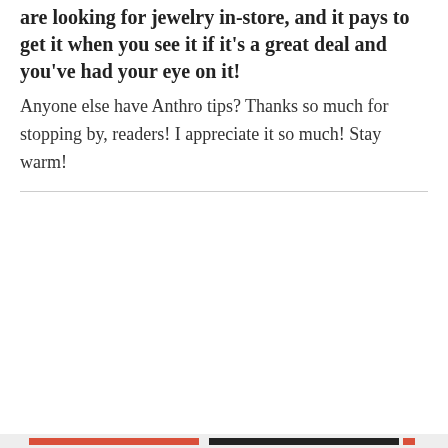are looking for jewelry in-store, and it pays to get it when you see it if it's a great deal and you've had your eye on it!
Anyone else have Anthro tips? Thanks so much for stopping by, readers! I appreciate it so much! Stay warm!
Privacy & Cookies: This site uses cookies. By continuing to use this website, you agree to their use.
To find out more, including how to control cookies, see here: Cookie Policy

Close and accept